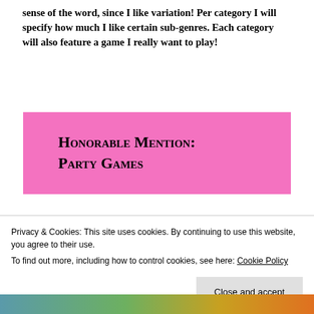sense of the word, since I like variation! Per category I will specify how much I like certain sub-genres. Each category will also feature a game I really want to play!
Honorable Mention: Party Games
Privacy & Cookies: This site uses cookies. By continuing to use this website, you agree to their use.
To find out more, including how to control cookies, see here: Cookie Policy
Close and accept
[Figure (photo): Partial photo visible at bottom of page, appears to show a colorful game or activity scene]